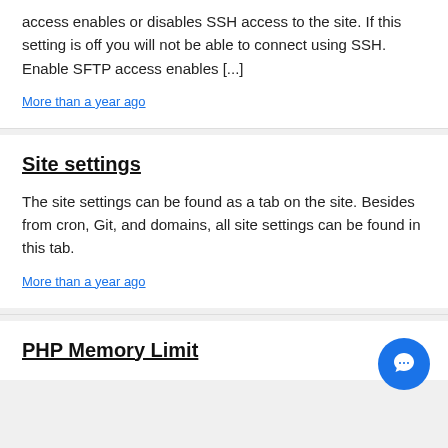access enables or disables SSH access to the site. If this setting is off you will not be able to connect using SSH. Enable SFTP access enables [...]
More than a year ago
Site settings
The site settings can be found as a tab on the site. Besides from cron, Git, and domains, all site settings can be found in this tab.
More than a year ago
PHP Memory Limit